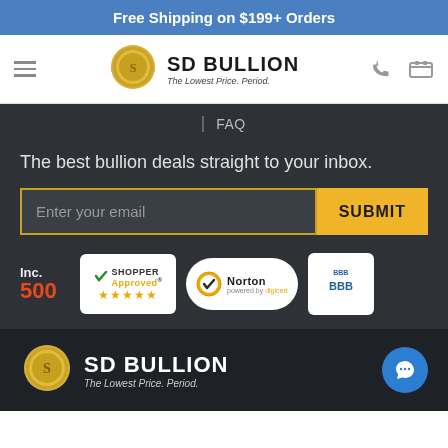Free Shipping on $199+ Orders
[Figure (logo): SD Bullion logo with coin and text 'SD BULLION The Lowest Price. Period.' navigation header with hamburger menu, phone, and cart icons]
FAQ
The best bullion deals straight to your inbox.
Enter your email | SUBMIT
[Figure (logo): Trust badges: Inc. 500, Shopper Approved 5 stars, Norton powered by DigiCert, BBB]
[Figure (logo): SD Bullion footer logo with coin and tagline 'The Lowest Price. Period.' and chat button]